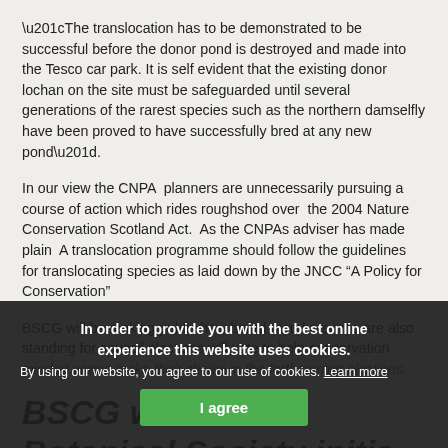“The translocation has to be demonstrated to be successful before the donor pond is destroyed and made into the Tesco car park. It is self evident that the existing donor lochan on the site must be safeguarded until several generations of the rarest species such as the northern damselfly have been proved to have successfully bred at any new pond”.
In our view the CNPA planners are unnecessarily pursuing a course of action which rides roughshod over the 2004 Nature Conservation Scotland Act. As the CNPAs adviser has made plain A translocation programme should follow the guidelines for translocating species as laid down by the JNCC “A Policy for Conservation”
BSCG will be making public how board members who are also standing for council elections will vote to help conservation minded voters make their choice in the forthcoming elections.
BSCG welcomes Botanical Society initia...
In order to provide you with the best online experience this website uses cookies.
By using our website, you agree to our use of cookies. Learn more
I agree